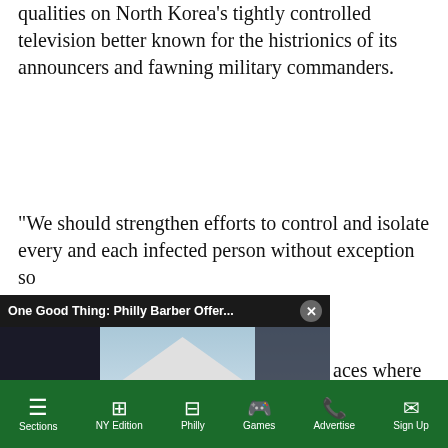qualities on North Korea's tightly controlled television better known for the histrionics of its announcers and fawning military commanders.
“We should strengthen efforts to control and isolate every and each infected person without exception so [that we don’t allow the virus to sp]r[ead to pl]aces where the [virus hasn’t reached yet,”] [Kim Jong-]u said on Friday, [according to state media r]es”.
[Figure (screenshot): Video overlay popup with title 'One Good Thing: Philly Barber Offer...' showing a video thumbnail of people near a white tent and a green sign board. A yellow mute button is visible in the lower left of the video. A close (X) button is in the top right of the popup.]
[North Korea has reported more than 1,80]0 people with fever [symptoms and two deaths among 12 milli]on people. It lacks testing capacity and has not specified how many of
Sections | NY Edition | Philly | Games | Advertise | Sign Up